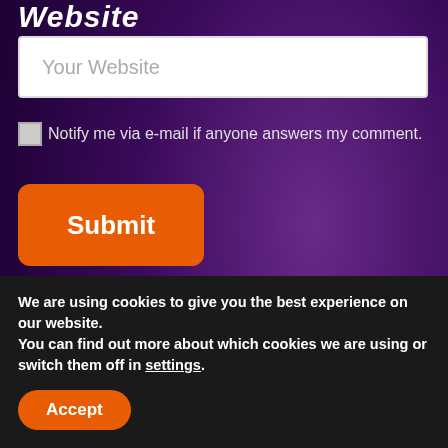Website
Your Website
Notify me via e-mail if anyone answers my comment.
Submit
Join the Mailing List:
email address
We are using cookies to give you the best experience on our website.
You can find out more about which cookies we are using or switch them off in settings.
Accept